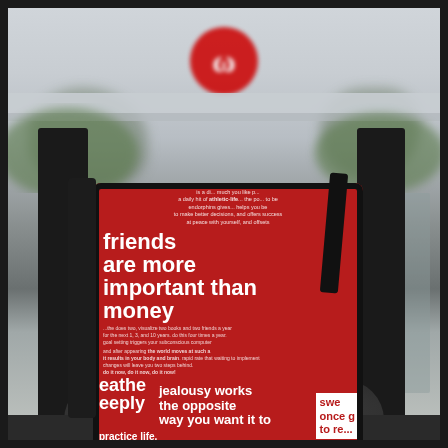[Figure (photo): A red lululemon branded bag/pouch covered in white motivational text phrases including 'friends are more important than money', 'breathe deeply', 'jealousy works the opposite way you want it to', 'practice life.', and other lululemon manifesto quotes. The bag is propped up on a dark rounded seat/surface, with a blurred lululemon store entrance visible in the background showing the red lululemon logo circle and green plants.]